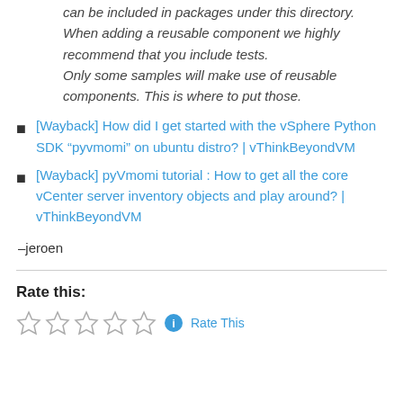can be included in packages under this directory. When adding a reusable component we highly recommend that you include tests. Only some samples will make use of reusable components. This is where to put those.
[Wayback] How did I get started with the vSphere Python SDK “pyvmomi” on ubuntu distro? | vThinkBeyondVM
[Wayback] pyVmomi tutorial : How to get all the core vCenter server inventory objects and play around? | vThinkBeyondVM
–jeroen
Rate this: